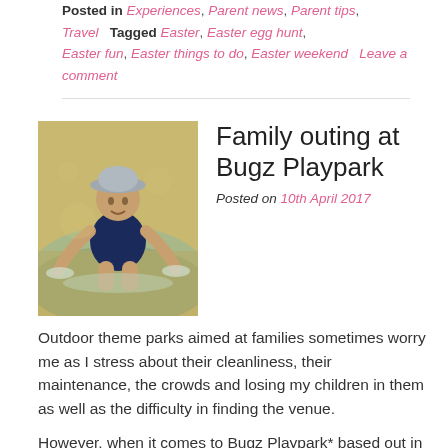Posted in Experiences, Parent news, Parent tips, Travel   Tagged Easter, Easter egg hunt, Easter fun, Easter things to do, Easter weekend   Leave a comment
[Figure (photo): Young child in a bucket hat playing in shallow water, splashing with hands, wearing a navy blue swimsuit]
Family outing at Bugz Playpark
Posted on 10th April 2017
Outdoor theme parks aimed at families sometimes worry me as I stress about their cleanliness, their maintenance, the crowds and losing my children in them as well as the difficulty in finding the venue.
However, when it comes to Bugz Playpark* based out in Kraaifontein in Cape Town, I needn't have worried.